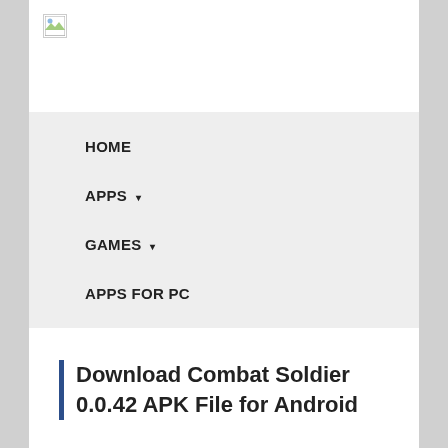[Figure (logo): Small broken/placeholder image icon in top left corner]
HOME
APPS ▾
GAMES ▾
APPS FOR PC
Download Combat Soldier 0.0.42 APK File for Android